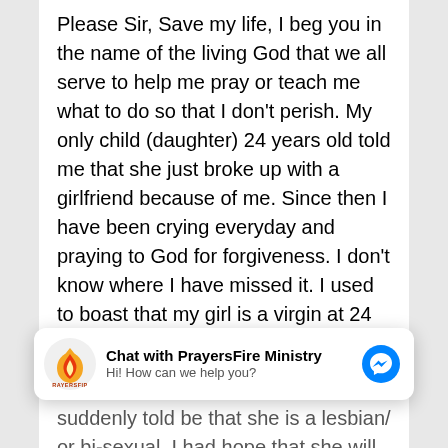Please Sir, Save my life, I beg you in the name of the living God that we all serve to help me pray or teach me what to do so that I don't perish. My only child (daughter) 24 years old told me that she just broke up with a girlfriend because of me. Since then I have been crying everyday and praying to God for forgiveness. I don't know where I have missed it. I used to boast that my girl is a virgin at 24 years and hoping that her husband will be proud of her and take us as good parents; not knowing that my girl is doing this despicable thing
[Figure (logo): PrayersFire Ministry chat widget with logo, title 'Chat with PrayersFire Ministry', subtitle 'Hi! How can we help you?', and messenger icon]
suddenly told be that she is a lesbian/ or bi-sexual. I had hope that she will get